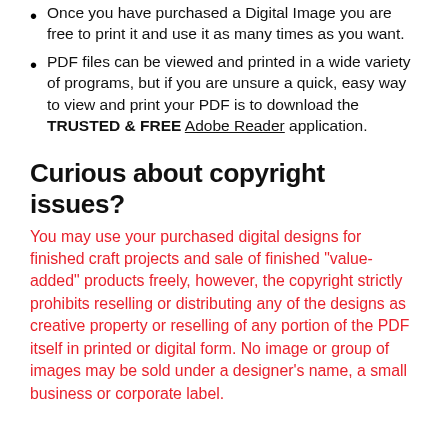Once you have purchased a Digital Image you are free to print it and use it as many times as you want.
PDF files can be viewed and printed in a wide variety of programs, but if you are unsure a quick, easy way to view and print your PDF is to download the TRUSTED & FREE Adobe Reader application.
Curious about copyright issues?
You may use your purchased digital designs for finished craft projects and sale of finished "value-added" products freely, however, the copyright strictly prohibits reselling or distributing any of the designs as creative property or reselling of any portion of the PDF itself in printed or digital form. No image or group of images may be sold under a designer's name, a small business or corporate label.